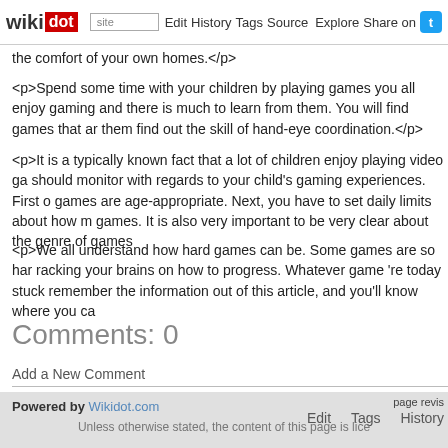wikidot | site | Edit | History | Tags | Source | Explore | Share on [Twitter]
the comfort of your own homes.</p>
<p>Spend some time with your children by playing games you all enjoy gaming and there is much to learn from them. You will find games that ar them find out the skill of hand-eye coordination.</p>
<p>It is a typically known fact that a lot of children enjoy playing video ga should monitor with regards to your child's gaming experiences. First o games are age-appropriate. Next, you have to set daily limits about how m games. It is also very important to be very clear about the genre of games
<p>We all understand how hard games can be. Some games are so har racking your brains on how to progress. Whatever game 're today stuck remember the information out of this article, and you'll know where you ca
Comments: 0
Add a New Comment
page revis | Edit | Tags | History
Powered by Wikidot.com
Unless otherwise stated, the content of this page is lice